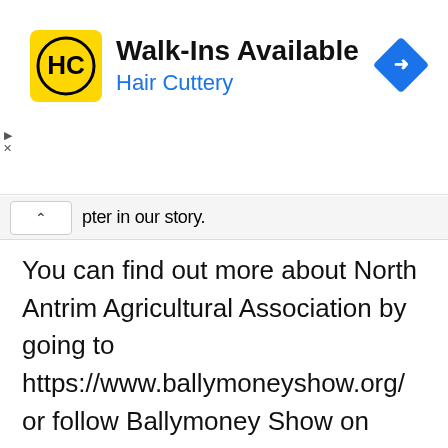[Figure (screenshot): Hair Cuttery advertisement banner with logo showing HC in black circle on yellow background, text 'Walk-Ins Available' and 'Hair Cuttery' in blue, plus a blue navigation diamond icon on the right]
pter in our story.
You can find out more about North Antrim Agricultural Association by going to https://www.ballymoneyshow.org/ or follow Ballymoney Show on Facebook.
For the latest news from Causeway Coast and Glens Borough Council follow us on Facebook and